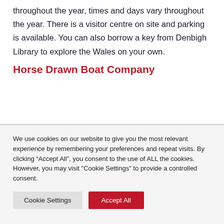throughout the year, times and days vary throughout the year. There is a visitor centre on site and parking is available. You can also borrow a key from Denbigh Library to explore the Wales on your own.
Horse Drawn Boat Company
We use cookies on our website to give you the most relevant experience by remembering your preferences and repeat visits. By clicking “Accept All”, you consent to the use of ALL the cookies. However, you may visit "Cookie Settings" to provide a controlled consent.